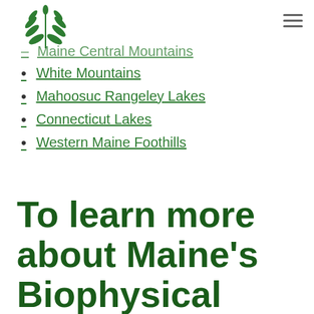[Figure (logo): Green fern leaf logo]
Maine Central Mountains
White Mountains
Mahoosuc Rangeley Lakes
Connecticut Lakes
Western Maine Foothills
To learn more about Maine's Biophysical Regions, download this